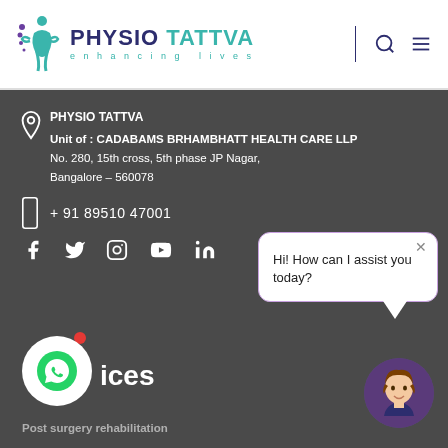[Figure (logo): Physio Tattva logo with teal figure and text 'PHYSIO TATTVA enhancing lives']
PHYSIO TATTVA
Unit of : CADABAMS BRHAMBHATT HEALTH CARE LLP
No. 280, 15th cross, 5th phase JP Nagar,
Bangalore – 560078
+ 91 89510 47001
[Figure (illustration): Social media icons: Facebook, Twitter, Instagram, YouTube, LinkedIn]
[Figure (illustration): Chat bubble with text: Hi! How can I assist you today? with close button]
[Figure (illustration): WhatsApp icon in white circle with red notification dot]
ices
Post surgery rehabilitation
[Figure (illustration): Female avatar chatbot in circular frame]